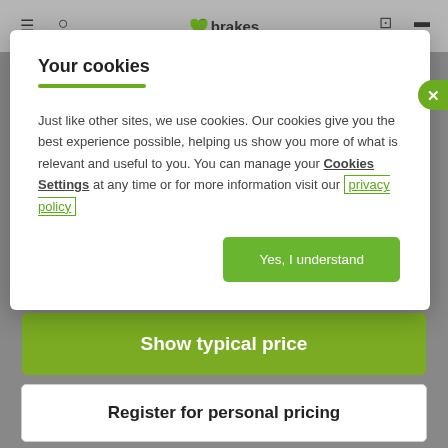[Figure (screenshot): Brakes website navbar with hamburger menu, search icon, logo with green leaf, and cart/account icons visible in background]
Your cookies
Just like other sites, we use cookies. Our cookies give you the best experience possible, helping us show you more of what is relevant and useful to you. You can manage your Cookies Settings at any time or for more information visit our privacy policy
Yes, I understand
Show typical price
Register for personal pricing